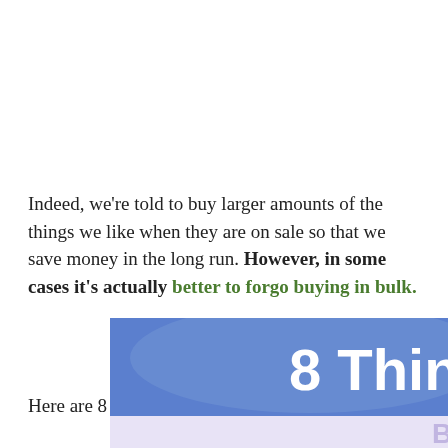Indeed, we're told to buy larger amounts of the things we like when they are on sale so that we save money in the long run. However, in some cases it's actually better to forgo buying in bulk.
Here are 8 things where this is particular true:
[Figure (illustration): Banner graphic with blue and purple background showing text '8 Things to Avoid Buying in Bulk' in white bold font]